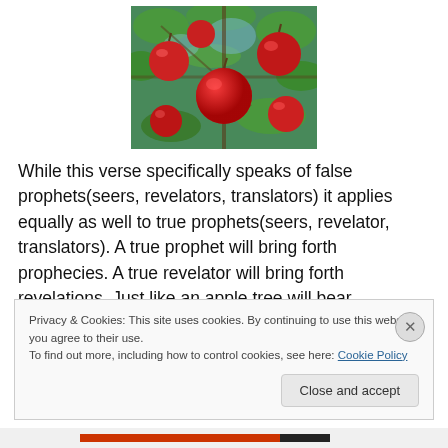[Figure (photo): Photo of red apples hanging on a tree branch with green leaves against a blue sky]
While this verse specifically speaks of false prophets(seers, revelators, translators) it applies equally as well to true prophets(seers, revelator, translators). A true prophet will bring forth prophecies. A true revelator will bring forth revelations. Just like an apple tree will bear
Privacy & Cookies: This site uses cookies. By continuing to use this website, you agree to their use.
To find out more, including how to control cookies, see here: Cookie Policy